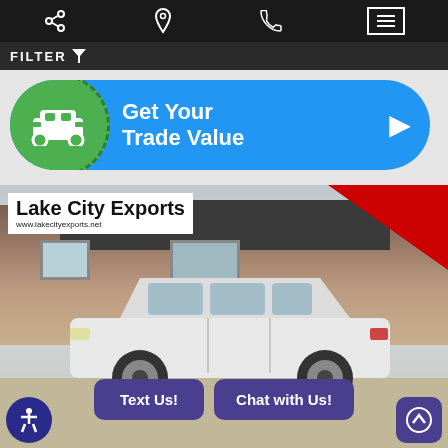[Figure (screenshot): Mobile app navigation bar with share icon, location pin icon, phone icon, and hamburger menu button on black background]
FILTER
[Figure (screenshot): Get Your Trade Value banner with green circle containing white car icon on blue background with right arrow]
[Figure (photo): Lake City Exports dealership photo showing a white SUV (Audi Q7) parked in front of the dealership building. Logo overlay reads Lake City Exports www.lakecityexports.net with red diagonal stripe. Buttons: Text Us! and Chat with Us!]